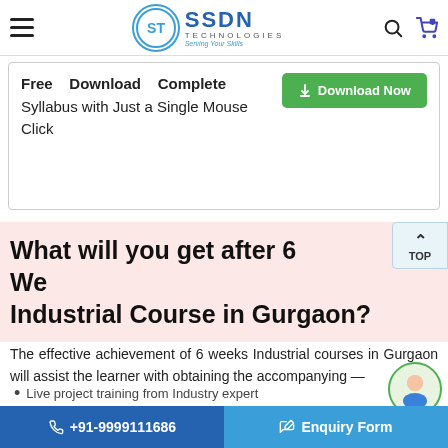SSDN Technologies - Serving Your Skills
Free Download Complete Syllabus with Just a Single Mouse Click
Download Now
What will you get after 6 Weeks Industrial Course in Gurgaon?
The effective achievement of 6 weeks Industrial courses in Gurgaon will assist the learner with obtaining the accompanying —
Live project training from Industry expert
+91-9999111686
Enquiry Form